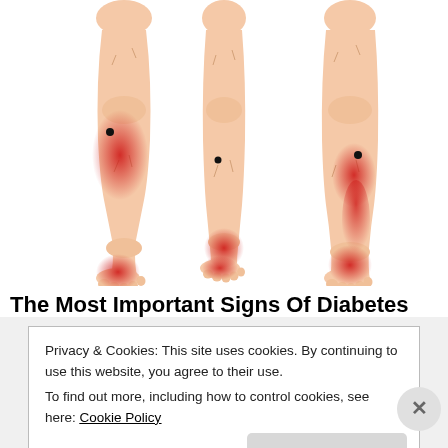[Figure (illustration): Three illustrated human legs/lower limbs showing pain/inflammation points (red highlighted areas) at different locations: left leg shows red on upper calf and heel/foot area with a dot marker; middle leg shows red at ankle and foot with a dot marker; right leg shows red along the Achilles tendon/lower calf and foot with a dot marker. Medical illustration for diabetes signs.]
The Most Important Signs Of Diabetes
Privacy & Cookies: This site uses cookies. By continuing to use this website, you agree to their use.
To find out more, including how to control cookies, see here: Cookie Policy